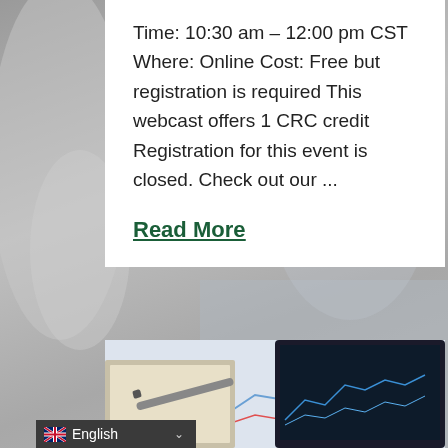Time: 10:30 am – 12:00 pm CST Where: Online Cost: Free but registration is required This webcast offers 1 CRC credit Registration for this event is closed. Check out our ...
Read More
[Figure (photo): Photo of a tablet, pen, notebook, and financial charts on a desk, in grayscale/muted tones]
[Figure (photo): Photo of a tablet with financial charts, pen on notebook, colorful line graphs visible at the bottom]
English